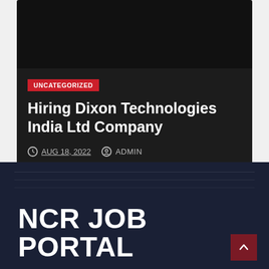[Figure (screenshot): Top black bar area of a card]
UNCATEGORIZED
Hiring Dixon Technologies India Ltd Company
AUG 18, 2022  ADMIN
NCR JOB PORTAL